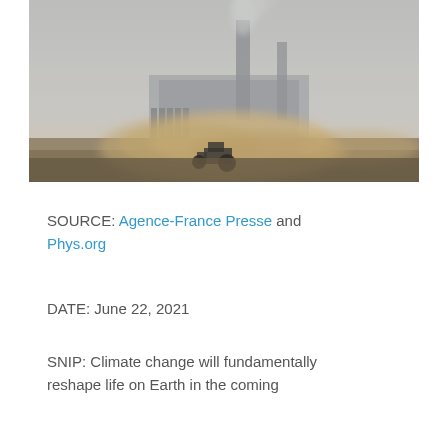[Figure (photo): Industrial facility with two tall smokestacks emitting smoke, silhouetted against a hazy sky. In the foreground, a tractor or farm vehicle kicks up large clouds of dust across a flat field. The scene is dusty and atmospheric with muted tones of grey and brown.]
SOURCE: Agence-France Presse and Phys.org
DATE: June 22, 2021
SNIP: Climate change will fundamentally reshape life on Earth in the coming